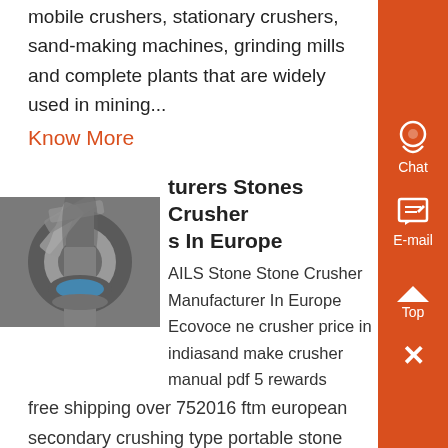mobile crushers, stationary crushers, sand-making machines, grinding mills and complete plants that are widely used in mining...
Know More
turers Stones Crusher s In Europe
[Figure (photo): Close-up photo of a stone crusher machine component showing gears/bearings]
AILS Stone Stone Crusher Manufacturer In Europe Ecovoce ne crusher price in indiasand make crusher manual pdf 5 rewards free shipping over 752016 ftm european secondary crushing type portable stone breakerhigh capacity ore stone vertical shaft crushing production line stone crusher price in india stone crusher machine